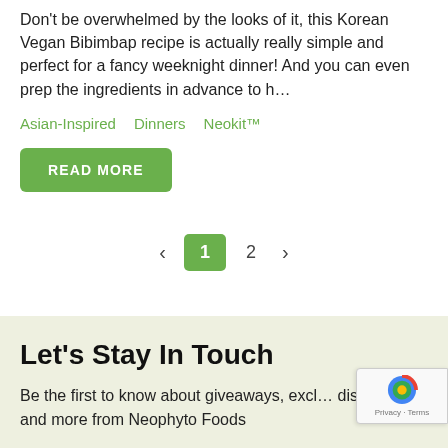Don't be overwhelmed by the looks of it, this Korean Vegan Bibimbap recipe is actually really simple and perfect for a fancy weeknight dinner! And you can even prep the ingredients in advance to h…
Asian-Inspired   Dinners   Neokit™
READ MORE
‹  1  2  ›
Let's Stay In Touch
Be the first to know about giveaways, excl… discounts and more from Neophyto Foods